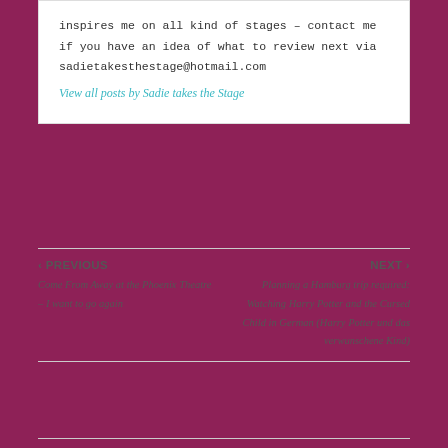inspires me on all kind of stages – contact me if you have an idea of what to review next via sadietakesthestage@hotmail.com
View all posts by Sadie takes the Stage
‹ PREVIOUS
Come From Away at the Phoenix Theatre – I want to go again
NEXT ›
Planning a Hamburg trip required: Watching Harry Potter and the Cursed Child in German (Harry Potter und das verwunschene Kind)